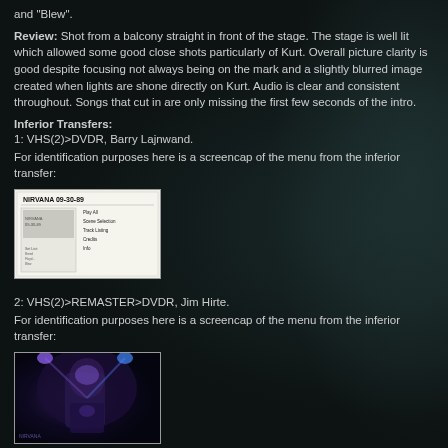and "Blew".
Review: Shot from a balcony straight in front of the stage. The stage is well lit which allowed some good close shots particularly of Kurt. Overall picture clarity is good despite focusing not always being on the mark and a slightly blurred image created when lights are shone directly on Kurt. Audio is clear and consistent throughout. Songs that cut in are only missing the first few seconds of the intro.
Inferior Transfers:
1: VHS(2)>DVDR, Barry Lajnwand.
For identification purposes here is a screencap of the menu from the inferior transfer:
[Figure (screenshot): Screenshot of a DVD menu showing a text-based menu with track listing, white background with small text]
2: VHS(2)>REMASTER>DVDR, Jim Hirte.
For identification purposes here is a screencap of the menu from the inferior transfer:
[Figure (photo): Screenshot showing a performer on stage with purple/blue lighting, dark background]
3: VHS(2)>DVDR, Bill Mayer.
For identification purposes here is a screencap of the menu from the inferior transfer:
[Figure (screenshot): DVD menu screenshot with small image on left and text menu items on right including Title, The Set, Chapters, Menu, Info]
4: VHS(1)>DVDR, Mike Ziegler.
For identification purposes here is a screencap of the menu from the inferior transfer: